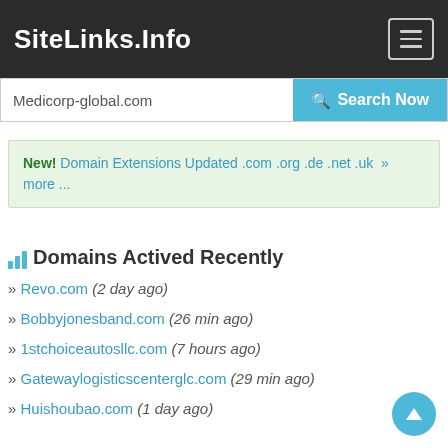SiteLinks.Info
Medicorp-global.com  Search Now
New! Domain Extensions Updated .com .org .de .net .uk » more ...
Domains Actived Recently
» Revo.com (2 day ago)
» Bobbyjonesband.com (26 min ago)
» 1stchoiceautosllc.com (7 hours ago)
» Gatewaylogisticscenterglc.com (29 min ago)
» Huishoubao.com (1 day ago)
» M1file.com (2 day ago)
» Topcelebritynetworths.com (2 day ago)
» Renhomesantalya.com (2 day ago)